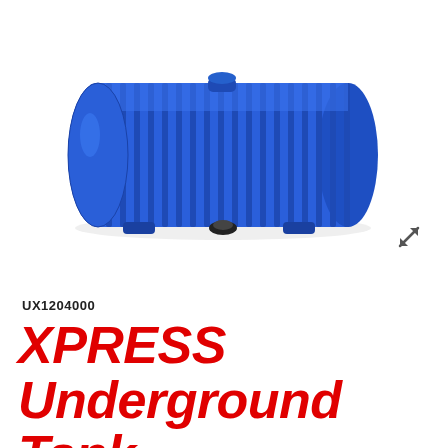[Figure (photo): Blue horizontal ribbed underground water storage tank (XPRESS Underground Tank 4,000 Ltr 1.2M Dia) shown from a slight angle, with corrugated cylindrical body and flat cap ends, resting on two small blue feet, with a black fitting visible at the bottom. The tank is photographed against a white background.]
UX1204000
XPRESS Underground Tank 4,000 Ltr 1.2M Dia